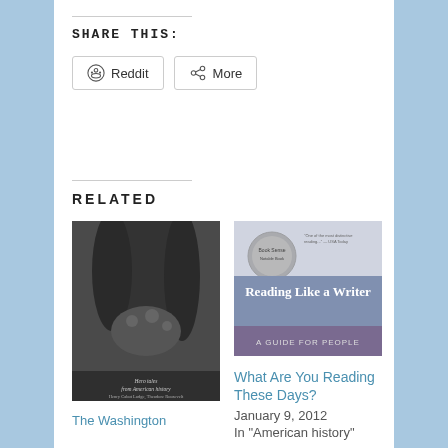SHARE THIS:
Reddit  More
RELATED
[Figure (photo): Book cover: Hero Tales from American History]
The Washington
[Figure (photo): Book cover: Reading Like a Writer - A Guide for People]
What Are You Reading These Days?
January 9, 2012
In "American history"